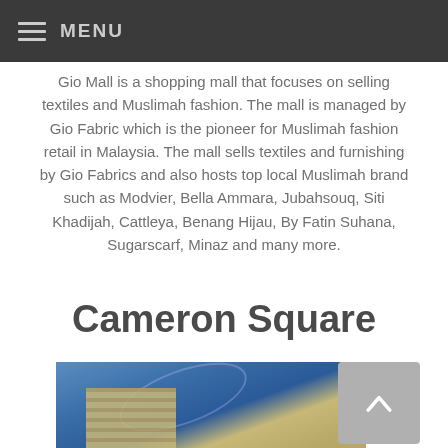MENU
Gio Mall is a shopping mall that focuses on selling textiles and Muslimah fashion. The mall is managed by Gio Fabric which is the pioneer for Muslimah fashion retail in Malaysia. The mall sells textiles and furnishing by Gio Fabrics and also hosts top local Muslimah brand such as Modvier, Bella Ammara, Jubahsouq, Siti Khadijah, Cattleya, Benang Hijau, By Fatin Suhana, Sugarscarf, Minaz and many more.
Cameron Square
[Figure (photo): Exterior photo of Cameron Square building against a blue sky, with a scroll-to-top button overlay in the bottom right corner]